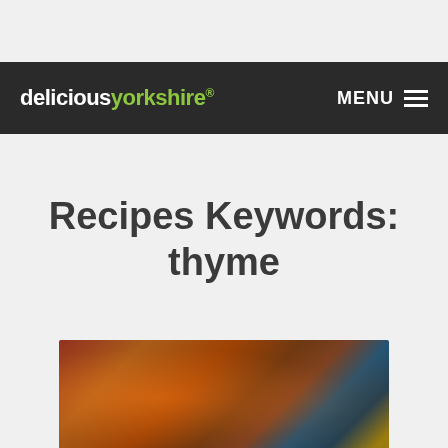deliciouslyorkshire® MENU
Recipes Keywords: thyme
[Figure (photo): Food dish photo showing a baked casserole or lasagna-type dish with a drink glass on the left, photographed from above at an angle with warm lighting]